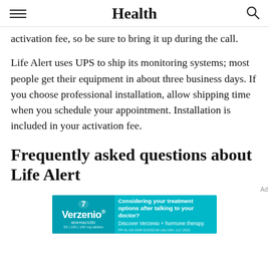Health
activation fee, so be sure to bring it up during the call.
Life Alert uses UPS to ship its monitoring systems; most people get their equipment in about three business days. If you choose professional installation, allow shipping time when you schedule your appointment. Installation is included in your activation fee.
Frequently asked questions about Life Alert
[Figure (other): Advertisement banner for Verzenio (abemaciclib) tablets. Teal background with Verzenio logo on left and text: 'Considering your treatment options after talking to your doctor? Discover Verzenio + hormone therapy. PP-AL-US-3198 01/2022 Eli Lilly USA, LLC 2022.']